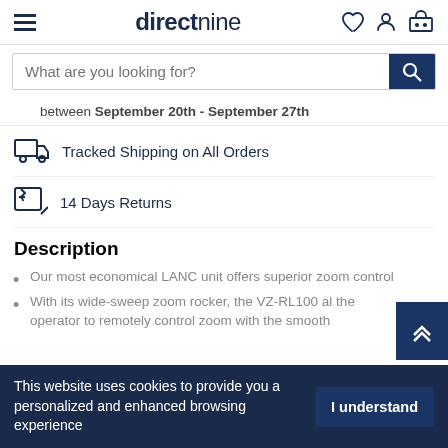directnine
What are you looking for?
between September 20th - September 27th
Tracked Shipping on All Orders
14 Days Returns
Description
Our most economical LANC unit offers superior zoom control
With its wide-sweep zoom rocker, the VZ-RL100 al the operator to remotely control zoom with the smooth
This website uses cookies to provide you a personalized and enhanced browsing experience